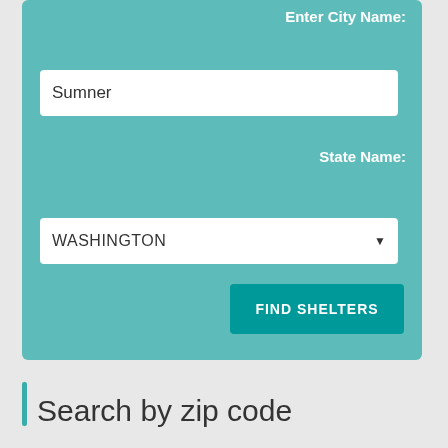Enter City Name:
Sumner
State Name:
WASHINGTON
FIND SHELTERS
Search by zip code